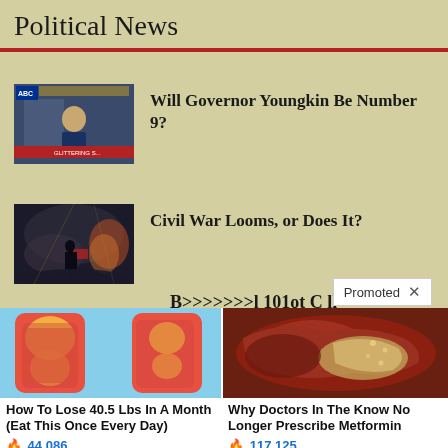Political News
[Figure (photo): TV news screenshot showing a man in a suit, likely Governor Youngkin, with news ticker graphic]
Will Governor Youngkin Be Number 9?
[Figure (photo): Dark atmospheric image showing a silhouette holding a flag in a smoky or battle scene]
Civil War Looms, or Does It?
Promoted X
[Figure (photo): Medical illustration showing legs with fat deposits highlighted in yellow]
How To Lose 40.5 Lbs In A Month (Eat This Once Every Day)
44,086
[Figure (photo): Medical photo showing internal organ, likely pancreas or similar]
Why Doctors In The Know No Longer Prescribe Metformin
117,125